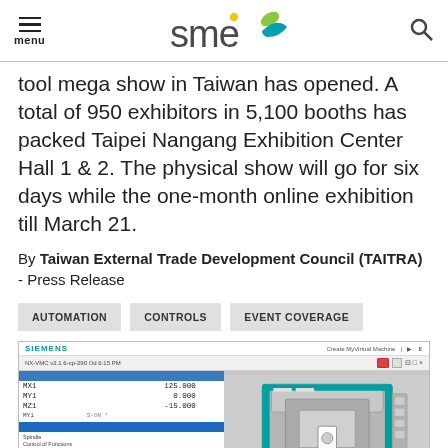menu / SME logo / search
tool mega show in Taiwan has opened. A total of 950 exhibitors in 5,100 booths has packed Taipei Nangang Exhibition Center Hall 1 & 2. The physical show will go for six days while the one-month online exhibition till March 21.
By Taiwan External Trade Development Council (TAITRA) - Press Release
AUTOMATION
CONTROLS
EVENT COVERAGE
[Figure (screenshot): Siemens Create MyVirtual Machine software screenshot showing CNC machine simulation interface with axis readouts (MX1: 125.000, MY1: 0.000, MZ1: -15.000) on the left panel and a 3D rendering of a grey CNC machining center with teal/green trim on the right panel.]